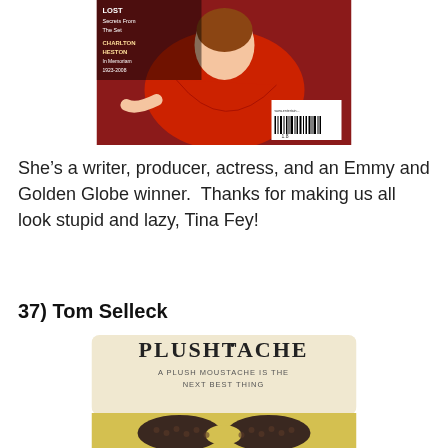[Figure (photo): Magazine cover featuring a woman in a red dress lying/crouching, with text overlay: LOST Secrets From The Set, CHARLTON HESTON In Memoriam 1923-2008, and a barcode in the lower right corner.]
She’s a writer, producer, actress, and an Emmy and Golden Globe winner.  Thanks for making us all look stupid and lazy, Tina Fey!
37) Tom Selleck
[Figure (photo): Product packaging for a 'Plushtache' - a plush moustache novelty item. The card reads: PLUSHTACHE - A PLUSH MOUSTACHE IS THE NEXT BEST THING. Below the text is a dark brown crocheted/knitted moustache shape.]